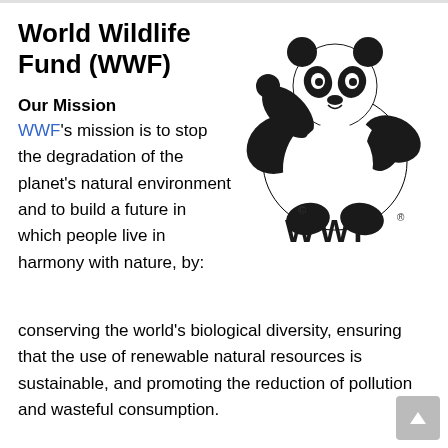World Wildlife Fund (WWF)
Our Mission
WWF's mission is to stop the degradation of the planet's natural environment and to build a future in which people live in harmony with nature, by:
[Figure (logo): WWF panda logo with 'WWF' text below and copyright symbols]
conserving the world's biological diversity, ensuring that the use of renewable natural resources is sustainable, and promoting the reduction of pollution and wasteful consumption.